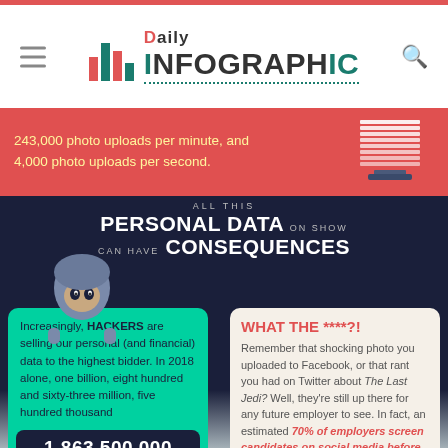Daily Infographic
[Figure (infographic): Infographic about personal data consequences: red band with photo upload stats, hacker figure, heading 'ALL THIS PERSONAL DATA ON SHOW CAN HAVE CONSEQUENCES', green card about hackers selling data with number 1,863,500,000, cream card 'WHAT THE ****?!' about employers screening candidates on social media]
243,000 photo uploads per minute, and 4,000 photo uploads per second.
ALL THIS PERSONAL DATA ON SHOW CAN HAVE CONSEQUENCES
Increasingly, HACKERS are selling our personal (and financial) data to the highest bidder. In 2018 alone, one billion, eight hundred and sixty-three million, five hundred thousand 1,863,500,000
WHAT THE ****?! Remember that shocking photo you uploaded to Facebook, or that rant you had on Twitter about The Last Jedi? Well, they're still up there for any future employer to see. In fact, an estimated 70% of employers screen candidates on social media before hiring – meaning relationships are potentially at stake if they discover your
personal records were stolen from companies, including from huge sites
before hiring – meaning relationships are potentially at stake if they discover your